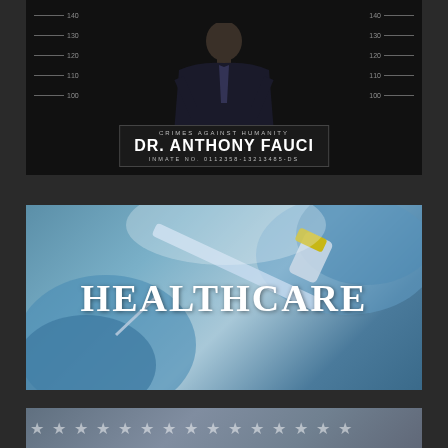[Figure (photo): Mugshot-style photo of a man in a dark suit holding a placard reading 'CRIMES AGAINST HUMANITY / DR. ANTHONY FAUCI / INMATE NO. 0112358-13213485-DS' against a dark background with height measurement lines]
[Figure (photo): Photo of hands in blue medical gloves holding a syringe and vaccine vial with yellow cap, with text 'HEALTHCARE' overlaid in white]
[Figure (photo): Partial photo showing a pattern of white star shapes on a grayish-blue background, partially visible at the bottom of the page]